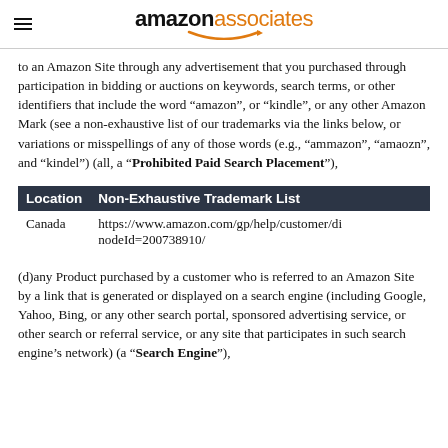amazon associates
to an Amazon Site through any advertisement that you purchased through participation in bidding or auctions on keywords, search terms, or other identifiers that include the word “amazon”, or “kindle”, or any other Amazon Mark (see a non-exhaustive list of our trademarks via the links below, or variations or misspellings of any of those words (e.g., “ammazon”, “amaozn”, and “kindel”) (all, a “Prohibited Paid Search Placement”),
| Location | Non-Exhaustive Trademark List |
| --- | --- |
| Canada | https://www.amazon.com/gp/help/customer/di nodeId=200738910/ |
(d)any Product purchased by a customer who is referred to an Amazon Site by a link that is generated or displayed on a search engine (including Google, Yahoo, Bing, or any other search portal, sponsored advertising service, or other search or referral service, or any site that participates in such search engine’s network) (a “Search Engine”),